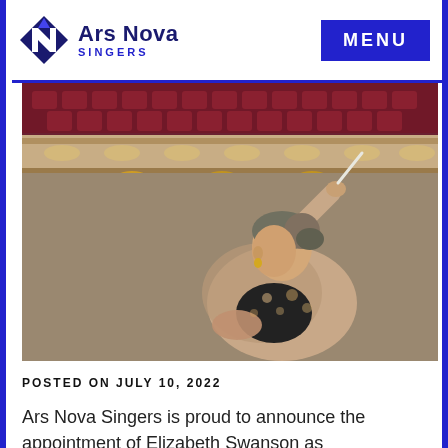Ars Nova Singers — MENU
[Figure (photo): A female conductor holding a baton raised, wearing a floral blazer, performing in an ornate concert hall with red seats and warm stage lighting visible in the background.]
POSTED ON JULY 10, 2022
Ars Nova Singers is proud to announce the appointment of Elizabeth Swanson as